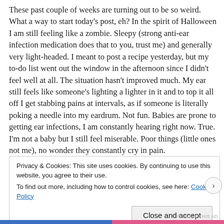These past couple of weeks are turning out to be so weird. What a way to start today's post, eh? In the spirit of Halloween I am still feeling like a zombie. Sleepy (strong anti-ear infection medication does that to you, trust me) and generally very light-headed. I meant to post a recipe yesterday, but my to-do list went out the window in the afternoon since I didn't feel well at all. The situation hasn't improved much. My ear still feels like someone's lighting a lighter in it and to top it all off I get stabbing pains at intervals, as if someone is literally poking a needle into my eardrum. Not fun. Babies are prone to getting ear infections, I am constantly hearing right now. True. I'm not a baby but I still feel miserable. Poor things (little ones not me), no wonder they constantly cry in pain.
Privacy & Cookies: This site uses cookies. By continuing to use this website, you agree to their use.
To find out more, including how to control cookies, see here: Cookie Policy
Close and accept